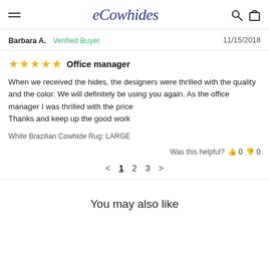eCowhides
Barbara A.  Verified Buyer  11/15/2018
★★★★★  Office manager
When we received the hides, the designers were thrilled with the quality and the color. We will definitely be using you again. As the office manager I was thrilled with the price
Thanks and keep up the good work
White Brazilian Cowhide Rug: LARGE
Was this helpful?  👍 0  👎 0
< 1 2 3 >
You may also like